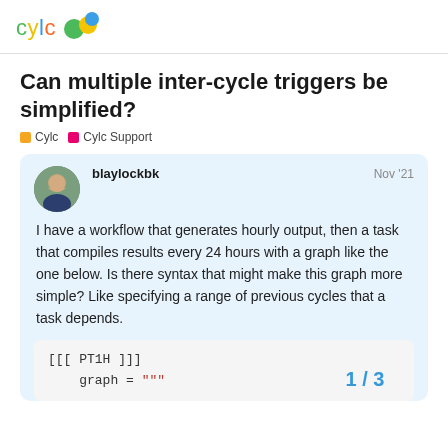cylc (logo)
Can multiple inter-cycle triggers be simplified?
Cylc  Cylc Support
blaylockbk  Nov '21
I have a workflow that generates hourly output, then a task that compiles results every 24 hours with a graph like the one below. Is there syntax that might make this graph more simple? Like specifying a range of previous cycles that a task depends.
[[[ PT1H ]]]
    graph = """
1 / 3